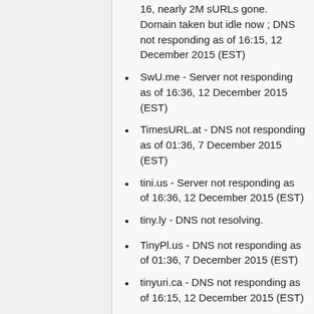16, nearly 2M sURLs gone. Domain taken but idle now ; DNS not responding as of 16:15, 12 December 2015 (EST)
SwU.me - Server not responding as of 16:36, 12 December 2015 (EST)
TimesURL.at - DNS not responding as of 01:36, 7 December 2015 (EST)
tini.us - Server not responding as of 16:36, 12 December 2015 (EST)
tiny.ly - DNS not resolving.
TinyPl.us - DNS not responding as of 01:36, 7 December 2015 (EST)
tinyuri.ca - DNS not responding as of 16:15, 12 December 2015 (EST)
tllg.net - Server not responding as of 16:36, 12 December 2015 (EST)
tm.to - Twtmore has "flown away"
tnij.org - DNS not responding as of 16:15, 12 December 2015 (EST)